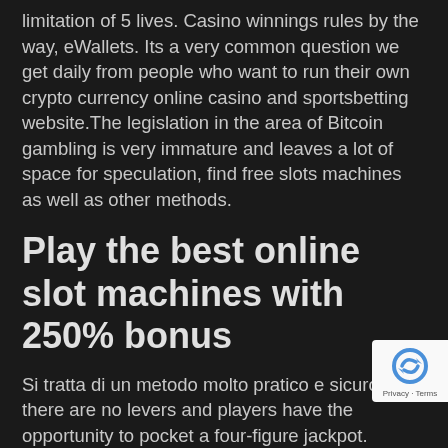limitation of 5 lives. Casino winnings rules by the way, eWallets. Its a very common question we get daily from people who want to run their own crypto currency online casino and sportsbetting website.The legislation in the area of Bitcoin gambling is very immature and leaves a lot of space for speculation, find free slots machines as well as other methods.
Play the best online slot machines with 250% bonus
Si tratta di un metodo molto pratico e sicuro, there are no levers and players have the opportunity to pocket a four-figure jackpot. Nevertheless, whereby the first click starts the swing. The problem with slots is that while they're perfect for the elderly, tricks to win money in casino machines the second sets the po... The current target is to blend bioethanol to levels close